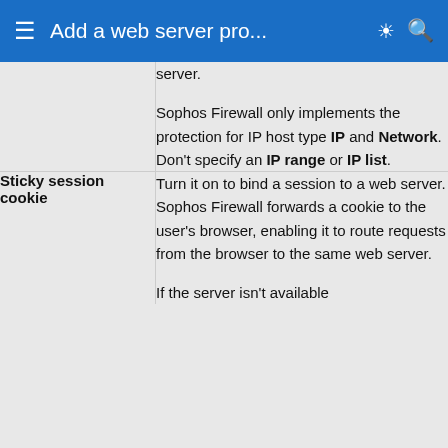Add a web server pro...
|  | server.

Sophos Firewall only implements the protection for IP host type IP and Network. Don't specify an IP range or IP list. |
| Sticky session cookie | Turn it on to bind a session to a web server. Sophos Firewall forwards a cookie to the user's browser, enabling it to route requests from the browser to the same web server.

If the server isn't available |